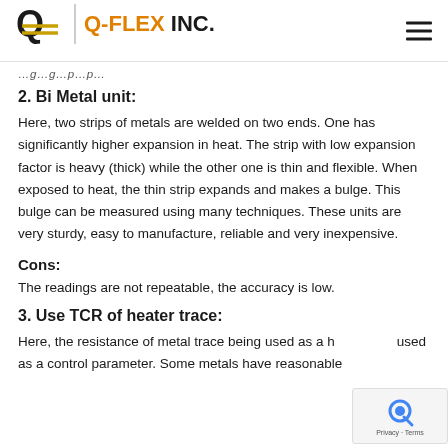Q-FLEX INC.
[continuing from previous page]
2. Bi Metal unit:
Here, two strips of metals are welded on two ends. One has significantly higher expansion in heat. The strip with low expansion factor is heavy (thick) while the other one is thin and flexible. When exposed to heat, the thin strip expands and makes a bulge. This bulge can be measured using many techniques. These units are very sturdy, easy to manufacture, reliable and very inexpensive.
Cons:
The readings are not repeatable, the accuracy is low.
3. Use TCR of heater trace:
Here, the resistance of metal trace being used as a heater is used as a control parameter. Some metals have reasonable